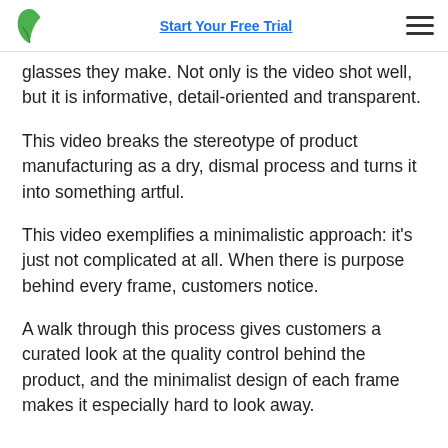Start Your Free Trial
glasses they make. Not only is the video shot well, but it is informative, detail-oriented and transparent.
This video breaks the stereotype of product manufacturing as a dry, dismal process and turns it into something artful.
This video exemplifies a minimalistic approach: it's just not complicated at all. When there is purpose behind every frame, customers notice.
A walk through this process gives customers a curated look at the quality control behind the product, and the minimalist design of each frame makes it especially hard to look away.